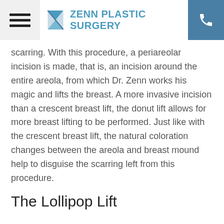ZENN PLASTIC SURGERY
scarring. With this procedure, a periareolar incision is made, that is, an incision around the entire areola, from which Dr. Zenn works his magic and lifts the breast. A more invasive incision than a crescent breast lift, the donut lift allows for more breast lifting to be performed. Just like with the crescent breast lift, the natural coloration changes between the areola and breast mound help to disguise the scarring left from this procedure.
The Lollipop Lift